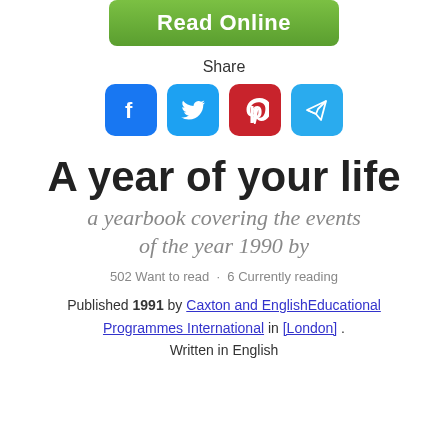[Figure (other): Green 'Read Online' button at the top of the page]
Share
[Figure (other): Row of four social media icons: Facebook (blue), Twitter (cyan), Pinterest (red), Telegram (light blue)]
A year of your life
a yearbook covering the events of the year 1990 by
502 Want to read · 6 Currently reading
Published 1991 by Caxton and EnglishEducational Programmes International in [London] . Written in English